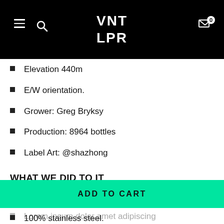VNT LPR
Elevation 440m
E/W orientation.
Grower: Greg Bryksy
Production: 8964 bottles
Label Art: @shazhong
WHAT WE DID TO IT
Harvest date: 22nd February 2021
100% stainless steel.